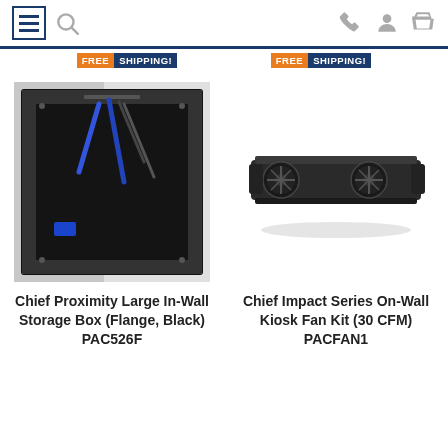Navigation bar with hamburger menu, search, phone, account, and cart icons
FREE SHIPPING! (x2)
[Figure (photo): Chief Proximity Large In-Wall Storage Box with cables (Flange, Black) PAC526F installed in a wall]
[Figure (photo): Chief Impact Series On-Wall Kiosk Fan Kit (30 CFM) PACFAN1, a long black rectangular device with two fans]
Chief Proximity Large In-Wall Storage Box (Flange, Black) PAC526F
Chief Impact Series On-Wall Kiosk Fan Kit (30 CFM) PACFAN1